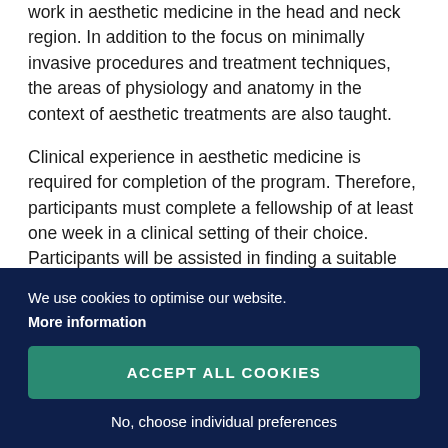work in aesthetic medicine in the head and neck region. In addition to the focus on minimally invasive procedures and treatment techniques, the areas of physiology and anatomy in the context of aesthetic treatments are also taught.
Clinical experience in aesthetic medicine is required for completion of the program. Therefore, participants must complete a fellowship of at least one week in a clinical setting of their choice. Participants will be assisted in finding a suitable [continues below overlay]
We use cookies to optimise our website. More information
ACCEPT ALL COOKIES
No, choose individual preferences